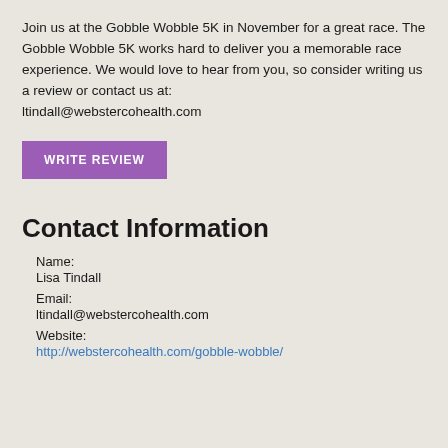Join us at the Gobble Wobble 5K in November for a great race. The Gobble Wobble 5K works hard to deliver you a memorable race experience. We would love to hear from you, so consider writing us a review or contact us at: ltindall@webstercohealth.com
WRITE REVIEW
Contact Information
Name:
Lisa Tindall
Email:
ltindall@webstercohealth.com
Website:
http://webstercohealth.com/gobble-wobble/